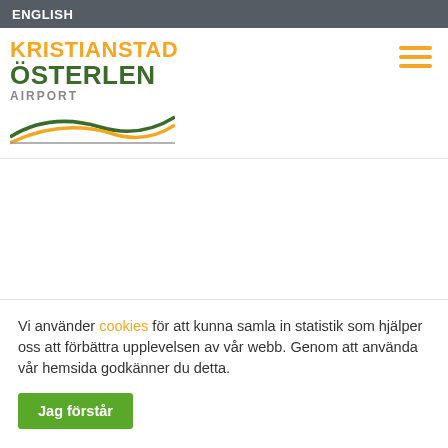ENGLISH
[Figure (logo): Kristianstad Österlen Airport logo with orange and green wave lines]
Vi använder cookies för att kunna samla in statistik som hjälper oss att förbättra upplevelsen av vår webb. Genom att använda vår hemsida godkänner du detta.
Jag förstår